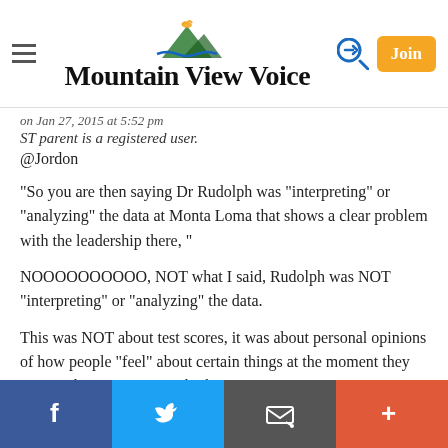Mountain View Voice
on Jan 27, 2015 at 5:52 pm
ST parent is a registered user.
@Jordon
"So you are then saying Dr Rudolph was "interpreting" or "analyzing" the data at Monta Loma that shows a clear problem with the leadership there, "
NOOOOOOOOOO, NOT what I said, Rudolph was NOT "interpreting" or "analyzing" the data.
This was NOT about test scores, it was about personal opinions of how people "feel" about certain things at the moment they answer the survey. As such, these surveys
Facebook | Twitter | Email | +